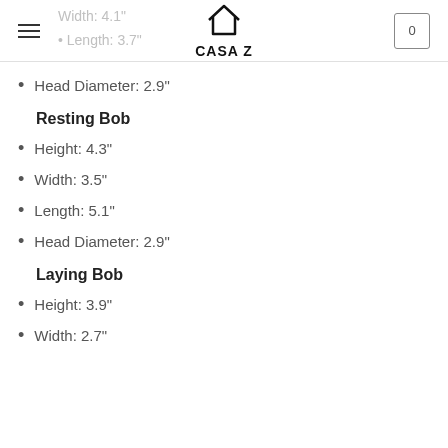CASA Z
Head Diameter: 2.9"
Resting Bob
Height: 4.3"
Width: 3.5"
Length: 5.1"
Head Diameter: 2.9"
Laying Bob
Height: 3.9"
Width: 2.7"